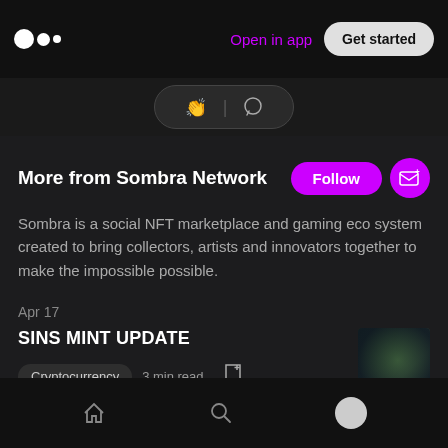Open in app  Get started
[Figure (screenshot): Clap and comment action pill icons]
More from Sombra Network
Sombra is a social NFT marketplace and gaming eco system created to bring collectors, artists and innovators together to make the impossible possible.
Apr 17
SINS MINT UPDATE
Cryptocurrency  3 min read
Home  Search  Profile